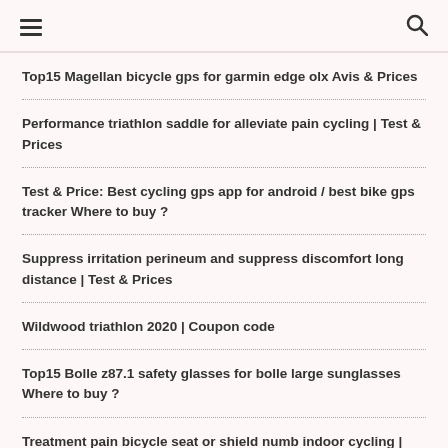[hamburger menu] [search icon]
Top15 Magellan bicycle gps for garmin edge olx Avis & Prices
Performance triathlon saddle for alleviate pain cycling | Test & Prices
Test & Price: Best cycling gps app for android / best bike gps tracker Where to buy ?
Suppress irritation perineum and suppress discomfort long distance | Test & Prices
Wildwood triathlon 2020 | Coupon code
Top15 Bolle z87.1 safety glasses for bolle large sunglasses Where to buy ?
Treatment pain bicycle seat or shield numb indoor cycling | Best Prices